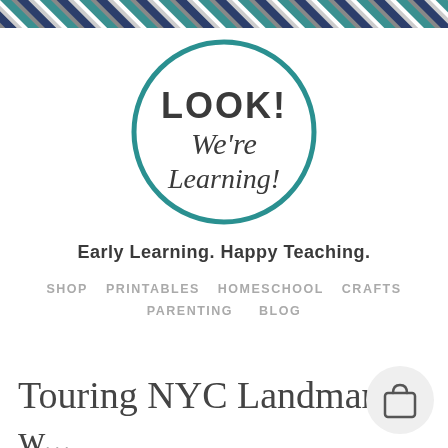[Figure (illustration): Diagonal stripe banner at the top of the page with teal, dark navy, and white/gray diagonal stripes]
[Figure (logo): Circular logo with teal border reading 'LOOK! We're Learning!' in bold and script font on white background]
Early Learning. Happy Teaching.
SHOP   PRINTABLES   HOMESCHOOL   CRAFTS   PARENTING   BLOG
Touring NYC Landmarks w... New York City Picture Books